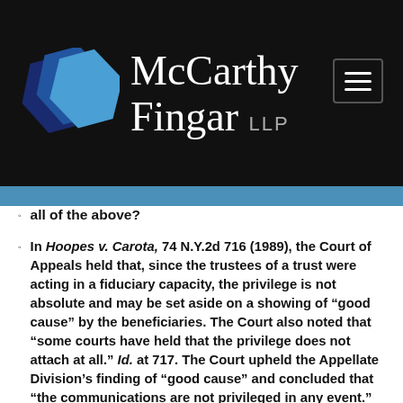McCarthy Fingar LLP
all of the above?
In Hoopes v. Carota, 74 N.Y.2d 716 (1989), the Court of Appeals held that, since the trustees of a trust were acting in a fiduciary capacity, the privilege is not absolute and may be set aside on a showing of “good cause” by the beneficiaries. The Court also noted that “some courts have held that the privilege does not attach at all.” Id. at 717. The Court upheld the Appellate Division’s finding of “good cause” and concluded that “the communications are not privileged in any event.” Id. But see AMBAC Indemnity Corp. v. Bankers Trust Co., 151 Misc. 2d 204 (Sup. Ct., N.Y. Co. 1991) (good cause not shown for indentured